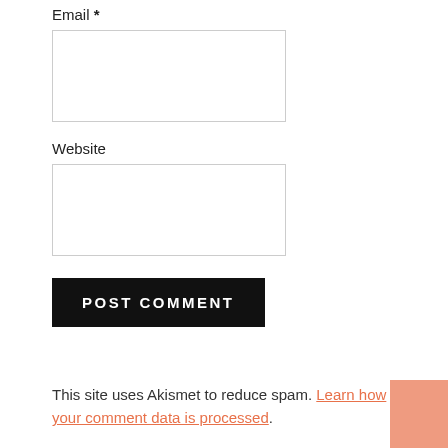Email *
Website
POST COMMENT
This site uses Akismet to reduce spam. Learn how your comment data is processed.
RELATED POSTS IN BEYOND THE KITCHEN